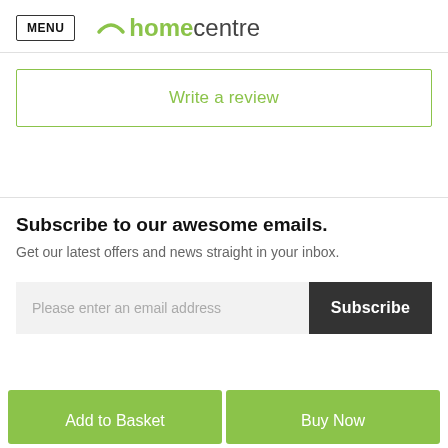MENU homecentre
Write a review
Subscribe to our awesome emails.
Get our latest offers and news straight in your inbox.
Please enter an email address | Subscribe
Add to Basket | Buy Now